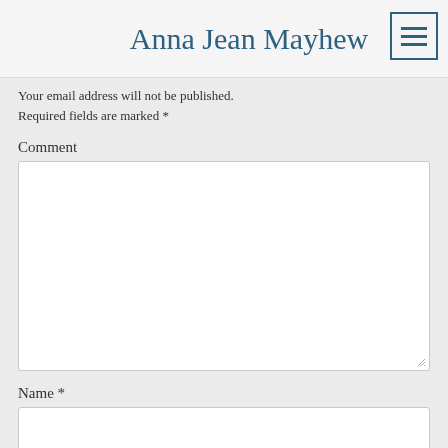Anna Jean Mayhew
Your email address will not be published. Required fields are marked *
Comment
[Figure (screenshot): Large empty comment text area input box with resize handle]
Name *
[Figure (screenshot): Single line text input box for Name field]
Email *